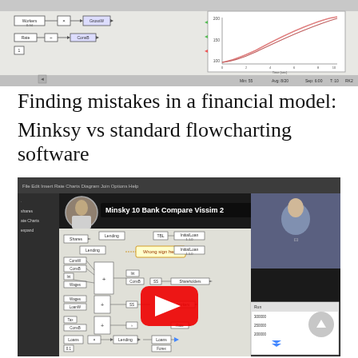[Figure (screenshot): Screenshot of a system dynamics simulation software (Vissim-style) showing a block diagram with Workers, Rate, and GrossW/ConsB connectors, and a line chart showing simulation output over time (0-10 seconds, values 100-200+). Bottom status bar shows simulation parameters.]
Finding mistakes in a financial model: Minksy vs standard flowcharting software
[Figure (screenshot): YouTube video thumbnail/screenshot titled 'Minsky 10 Bank Compare Vissim 2'. Shows a presenter in the upper right corner, a flowchart block diagram in the center with labels including 'Lending', 'Shares', 'ConsW', 'ConsB', 'Wages', 'LoanW', 'Wrong sign here' annotation, 'InitialLoan', 'Shareholders', 'Workers', 'Rate', 'Loans', 'Lending', 'Int', 'Forex', and a mini chart in bottom right showing values 300000, 250000, 200000. Red YouTube play button overlay in center. Gray scroll-to-top button on right side.]